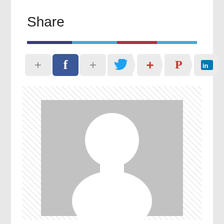Share
[Figure (infographic): Social share buttons bar with colored divider line (dark blue, light blue, red segments), followed by share buttons for Facebook, Twitter, Pinterest, LinkedIn with plus icons]
[Figure (photo): Placeholder profile image with gray background and white silhouette of a person (head circle and shoulders)]